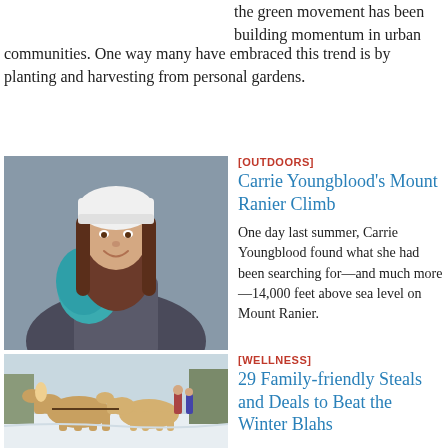the green movement has been building momentum in urban communities. One way many have embraced this trend is by planting and harvesting from personal gardens.
[Figure (photo): Woman wearing a white beanie hat and teal backpack, smiling, against a gray background — hiking/outdoors portrait of Carrie Youngblood]
[OUTDOORS]
Carrie Youngblood's Mount Ranier Climb
One day last summer, Carrie Youngblood found what she had been searching for—and much more—14,000 feet above sea level on Mount Ranier.
[Figure (photo): Two horses with harnesses pulling a sled in a snowy winter outdoor scene with people in the background]
[WELLNESS]
29 Family-friendly Steals and Deals to Beat the Winter Blahs
It's leap year!
We're proud our home state...